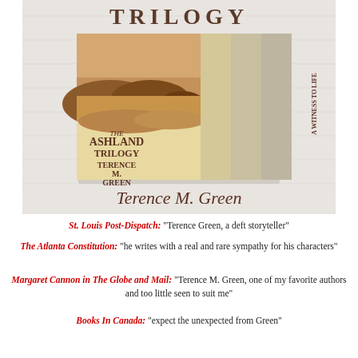[Figure (illustration): Book cover image of The Ashland Trilogy by Terence M. Green, showing three book spines: Shadow of Ashland, A Witness to Life, St. Patrick's Bed, with the front cover displaying a landscape scene.]
St. Louis Post-Dispatch: "Terence Green, a deft storyteller"
The Atlanta Constitution: "he writes with a real and rare sympathy for his characters"
Margaret Cannon in The Globe and Mail: "Terence M. Green, one of my favorite authors and too little seen to suit me"
Books In Canada: "expect the unexpected from Green"